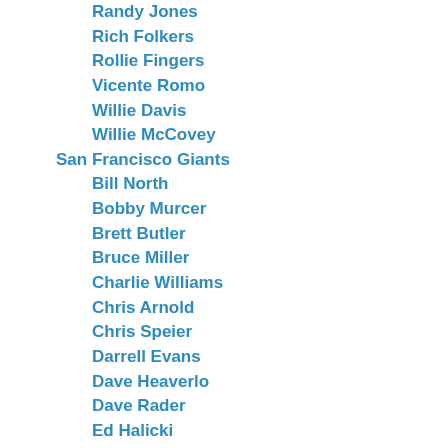Randy Jones
Rich Folkers
Rollie Fingers
Vicente Romo
Willie Davis
Willie McCovey
San Francisco Giants
Bill North
Bobby Murcer
Brett Butler
Bruce Miller
Charlie Williams
Chris Arnold
Chris Speier
Darrell Evans
Dave Heaverlo
Dave Rader
Ed Halicki
Garry Maddox (S.F.)
Gary Lavelle